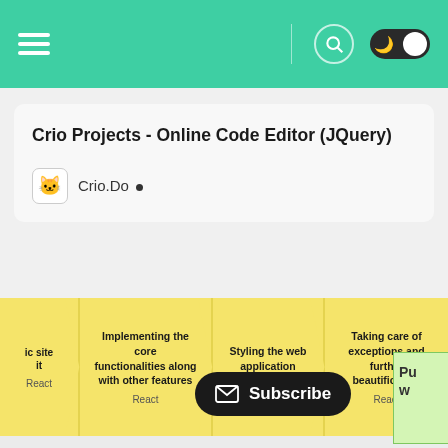[Figure (screenshot): Top navigation bar with hamburger menu, search icon, and dark mode toggle on teal/green background]
Crio Projects - Online Code Editor (JQuery)
Crio.Do •
[Figure (infographic): Horizontal steps/stages banner showing: (partial) basic site setup - React, Implementing the core functionalities along with other features - React, Styling the web application - CSS, Taking care of exceptions and further beautification - React]
[Figure (infographic): Blue cylinder database icon with text 'Deploy the app, a hosting data and host your live', a dark Subscribe button with envelope icon, and a partial green box with 'Pu' text visible]